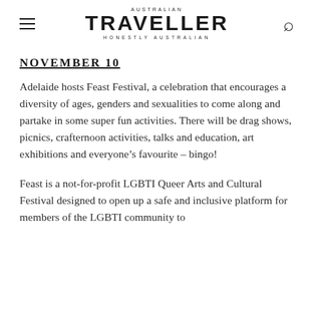AUSTRALIAN TRAVELLER HONESTLY AUSTRALIAN
NOVEMBER 10
Adelaide hosts Feast Festival, a celebration that encourages a diversity of ages, genders and sexualities to come along and partake in some super fun activities. There will be drag shows, picnics, crafternoon activities, talks and education, art exhibitions and everyone's favourite – bingo!
Feast is a not-for-profit LGBTI Queer Arts and Cultural Festival designed to open up a safe and inclusive platform for members of the LGBTI community to